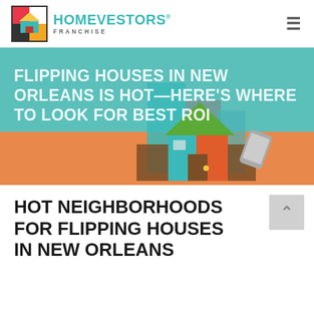[Figure (logo): HomeVestors Franchise logo with colorful house icon and teal brand name]
FLIPPING HOUSES IN NEW ORLEANS IS HOT—HERE'S WHERE TO LOOK FOR BEST ROI
[Figure (illustration): Illustrated house with geometric shapes in teal, green, gray, brown, orange colors, partial hand holding phone]
HOT NEIGHBORHOODS FOR FLIPPING HOUSES IN NEW ORLEANS